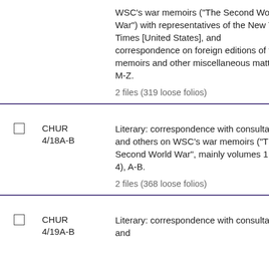WSC's war memoirs ("The Second World War") with representatives of the New York Times [United States], and correspondence on foreign editions of the memoirs and other miscellaneous matters, M-Z.

2 files (319 loose folios)
CHUR 4/18A-B
Literary: correspondence with consultants and others on WSC's war memoirs ("The Second World War", mainly volumes 1 to 4), A-B.

2 files (368 loose folios)
CHUR 4/19A-B
Literary: correspondence with consultants and